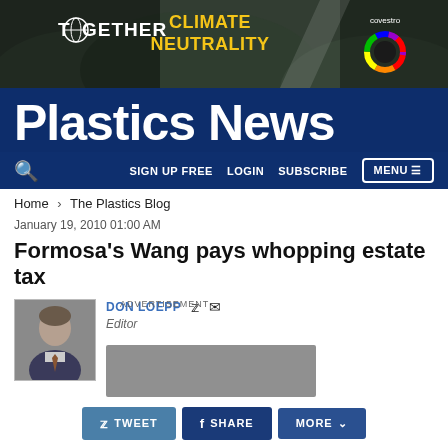[Figure (illustration): Advertisement banner: 'TOGETHER' with globe icon, 'CLIMATE NEUTRALITY' in yellow text, Covestro logo with rainbow circle, dark mountainous background]
Plastics News
SIGN UP FREE  LOGIN  SUBSCRIBE  MENU
Home > The Plastics Blog
January 19, 2010 01:00 AM
Formosa's Wang pays whopping estate tax
DON LOEPP  Editor
ADVERTISEMENT
TWEET  SHARE  MORE